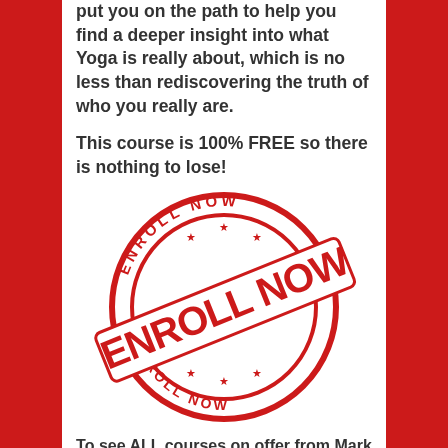put you on the path to help you find a deeper insight into what Yoga is really about, which is no less than rediscovering the truth of who you really are.
This course is 100% FREE so there is nothing to lose!
[Figure (illustration): Red circular stamp graphic with text 'ENROLL NOW' arranged around the circle and in large bold diagonal text across the center]
To see ALL courses on offer from Mark